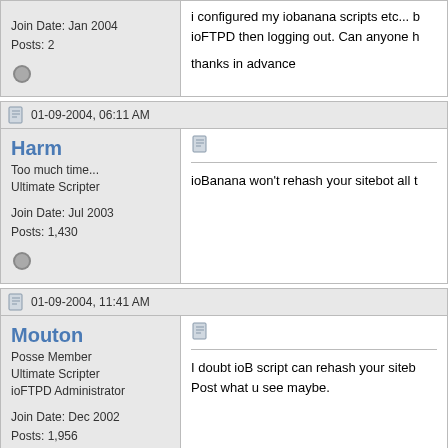Join Date: Jan 2004
Posts: 2
i configured my iobanana scripts etc... b ioFTPD then logging out. Can anyone h

thanks in advance
01-09-2004, 06:11 AM
Harm
Too much time...
Ultimate Scripter
Join Date: Jul 2003
Posts: 1,430
ioBanana won't rehash your sitebot all t
01-09-2004, 11:41 AM
Mouton
Posse Member
Ultimate Scripter
ioFTPD Administrator
Join Date: Dec 2002
Posts: 1,956
I doubt ioB script can rehash your siteb Post what u see maybe.